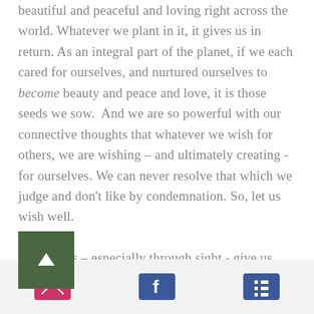beautiful and peaceful and loving right across the world. Whatever we plant in it, it gives us in return. As an integral part of the planet, if we each cared for ourselves, and nurtured ourselves to become beauty and peace and love, it is those seeds we sow.  And we are so powerful with our connective thoughts that whatever we wish for others, we are wishing – and ultimately creating - for ourselves. We can never resolve that which we judge and don't like by condemnation. So, let us wish well.

Our senses – especially through sight - give us the illusion of separation. Our bodies and the boundaries we put around our homes give us the illusion of separation. Our jobs, businesses, imaginary status, families...
[Figure (other): Dark green square button with white upward-pointing arrow, used as a scroll-to-top button]
Email icon | Facebook icon | List/menu icon